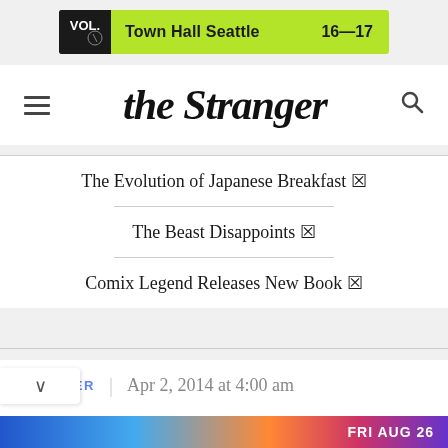[Figure (infographic): Green advertisement banner for VOL. event at Town Hall Seattle, dates 16-17]
the Stranger
The Evolution of Japanese Breakfast 🔗
The Beast Disappoints 🔗
Comix Legend Releases New Book 🔗
THEATER | Apr 2, 2014 at 4:00 am
Come Sail Away
[Figure (infographic): Colorful bottom advertisement banner with text FRI AUG 26]